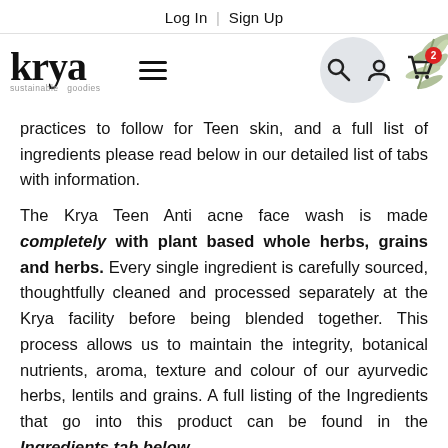Log In | Sign Up
[Figure (logo): Krya sustainable goodies logo with hamburger menu, search, user, and cart icons]
practices to follow for Teen skin, and a full list of ingredients please read below in our detailed list of tabs with information.
The Krya Teen Anti acne face wash is made completely with plant based whole herbs, grains and herbs. Every single ingredient is carefully sourced, thoughtfully cleaned and processed separately at the Krya facility before being blended together. This process allows us to maintain the integrity, botanical nutrients, aroma, texture and colour of our ayurvedic herbs, lentils and grains. A full listing of the Ingredients that go into this product can be found in the Ingredients tab below.